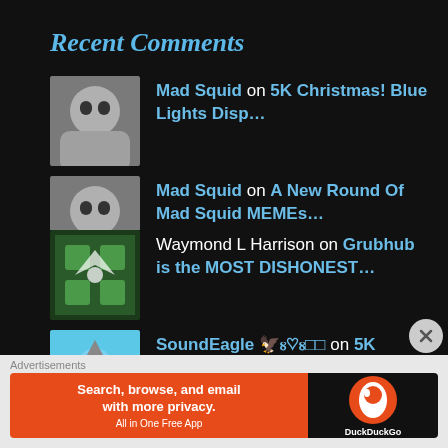Recent Comments
Mad Squid on 5K Christmas! Blue Lights Disp…
Mad Squid on A New Round Of Mad Squid MEMEs…
SoundEagle 🦅ᴕ♡ᴕ□□ on A New Round Of Mad Squid MEMEs…
Waymond L Harrison on Grubhub is the MOST DISHONEST…
SoundEagle 🦅ᴕ♡ᴕ□□ on 5K Christmas! Blue Lights Disp…
Advertisements
[Figure (screenshot): DuckDuckGo advertisement banner: Search, browse, and email with more privacy. All in One Free App.]